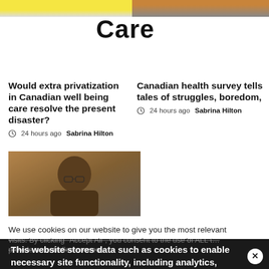[Figure (photo): Top left image strip with yellow/gold tones]
[Figure (photo): Top right image strip showing a person in yellow shirt]
Care
Would extra privatization in Canadian well being care resolve the present disaster?
24 hours ago  Sabrina Hilton
Canadian health survey tells tales of struggles, boredom,
24 hours ago  Sabrina Hilton
[Figure (photo): Photo of a man with glasses in front of a brick wall]
We use cookies on our website to give you the most relevant experience by remembering your preferences and repeat visits. By clicking "Accept All", you consent to the use of ALL t… provide a controlled consent.
This website stores data such as cookies to enable necessary site functionality, including analytics, targeting, and personalization. By remaining on this website you indicate your consent Cookie Policy